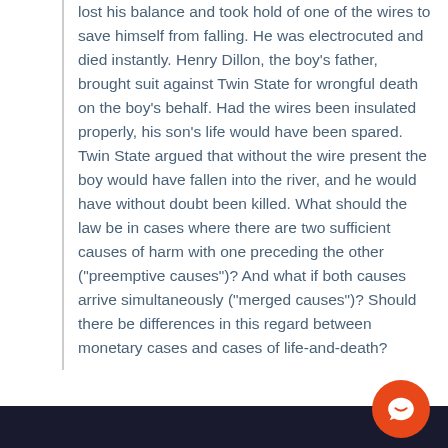lost his balance and took hold of one of the wires to save himself from falling. He was electrocuted and died instantly. Henry Dillon, the boy's father, brought suit against Twin State for wrongful death on the boy's behalf. Had the wires been insulated properly, his son's life would have been spared. Twin State argued that without the wire present the boy would have fallen into the river, and he would have without doubt been killed. What should the law be in cases where there are two sufficient causes of harm with one preceding the other ("preemptive causes")? And what if both causes arrive simultaneously ("merged causes")? Should there be differences in this regard between monetary cases and cases of life-and-death?